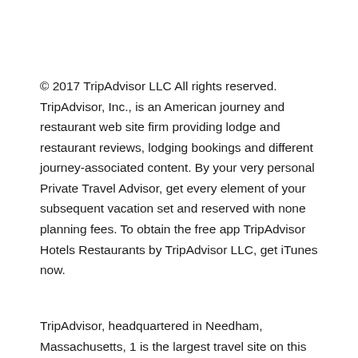© 2017 TripAdvisor LLC All rights reserved. TripAdvisor, Inc., is an American journey and restaurant web site firm providing lodge and restaurant reviews, lodging bookings and different journey-associated content. By your very personal Private Travel Advisor, get every element of your subsequent vacation set and reserved with none planning fees. To obtain the free app TripAdvisor Hotels Restaurants by TripAdvisor LLC, get iTunes now.
TripAdvisor, headquartered in Needham, Massachusetts, 1 is the largest travel site on this